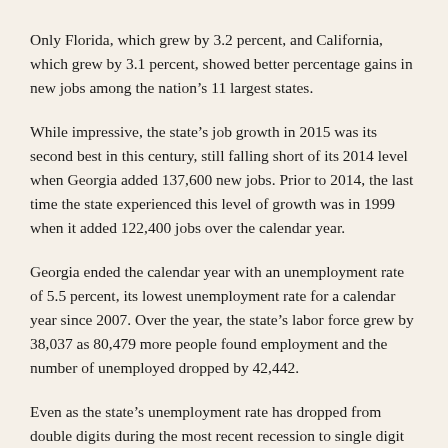Only Florida, which grew by 3.2 percent, and California, which grew by 3.1 percent, showed better percentage gains in new jobs among the nation's 11 largest states.
While impressive, the state's job growth in 2015 was its second best in this century, still falling short of its 2014 level when Georgia added 137,600 new jobs. Prior to 2014, the last time the state experienced this level of growth was in 1999 when it added 122,400 jobs over the calendar year.
Georgia ended the calendar year with an unemployment rate of 5.5 percent, its lowest unemployment rate for a calendar year since 2007. Over the year, the state's labor force grew by 38,037 as 80,479 more people found employment and the number of unemployed dropped by 42,442.
Even as the state's unemployment rate has dropped from double digits during the most recent recession to single digit numbers, Georgia's labor force has shown little change, a situation that is showing up in labor numbers across the nation. Economists are unsure of the reason for the slow growth of the labor force.